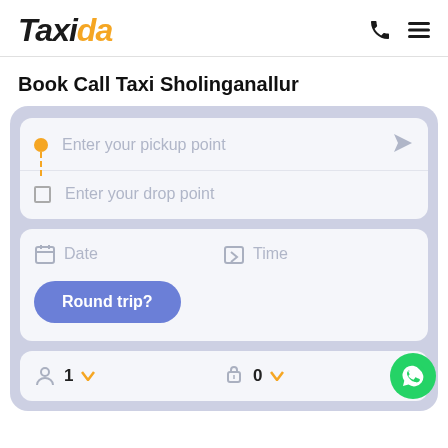[Figure (logo): Taxida logo in italic bold font, 'Taxi' in black and 'da' in orange/yellow]
Book Call Taxi Sholinganallur
[Figure (screenshot): Booking form UI with pickup point input, drop point input, date and time selectors, round trip button, and passenger/luggage count selectors on a lavender background]